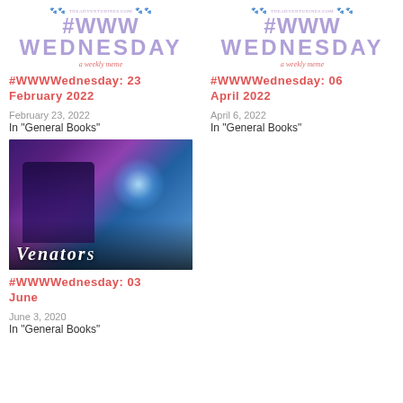[Figure (logo): WWW Wednesday blog header with #WWW WEDNESDAY title in purple and subtitle in red script]
[Figure (logo): WWW Wednesday blog header with #WWW WEDNESDAY title in purple and subtitle in red script]
#WWWWednesday: 23 February 2022
February 23, 2022
In "General Books"
#WWWWednesday: 06 April 2022
April 6, 2022
In "General Books"
[Figure (photo): Book cover for Venators showing two figures with glowing energy between them against a dark background]
#WWWWednesday: 03 June
June 3, 2020
In "General Books"